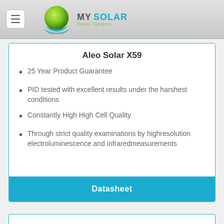MY SOLAR Power Systems
Aleo Solar X59
25 Year Product Guarantee
PID tested with excellent results under the harshest conditions
Constantly High High Cell Quality
Through strict quality examinations by highresolution electroluminescence and infraredmeasurements
Datasheet